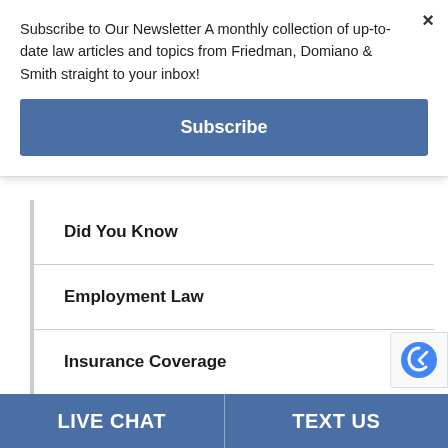Subscribe to Our Newsletter A monthly collection of up-to-date law articles and topics from Friedman, Domiano & Smith straight to your inbox!
Subscribe
Did You Know
Employment Law
Insurance Coverage
Lawsuit
Medical Malpractice
LIVE CHAT   TEXT US